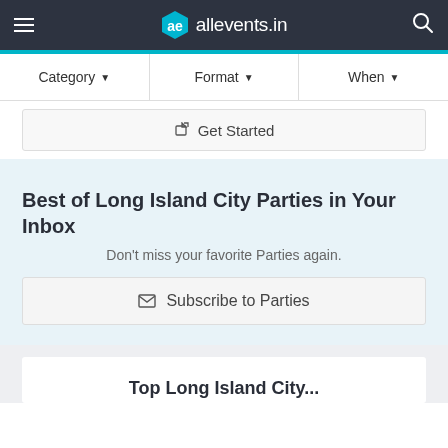allevents.in
Category ▼   Format ▼   When ▼
Get Started
Best of Long Island City Parties in Your Inbox
Don't miss your favorite Parties again.
Subscribe to Parties
Top Long Island City...